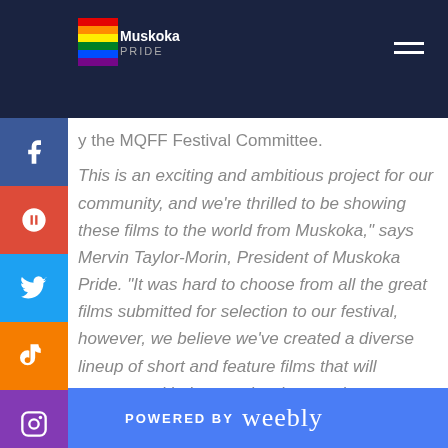[Figure (logo): Muskoka Pride logo with rainbow flag colors and text 'Muskoka PRIDE']
y the MQFF Festival Committee.
This is an exciting and ambitious project for our community, and we're thrilled to be showing these films to the world from Muskoka," says Mervin Taylor-Morin, President of Muskoka Pride. "It was hard to choose from all the great films submitted for selection to our festival, however, we believe we've created a diverse lineup of short and feature films that will resonate with the people who tune in to see them."
He adds that while disappointed the film festival can't be
POWERED BY weebly